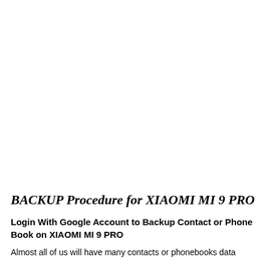BACKUP Procedure for XIAOMI MI 9 PRO
Login With Google Account to Backup Contact or Phone Book on XIAOMI MI 9 PRO
Almost all of us will have many contacts or phonebooks data